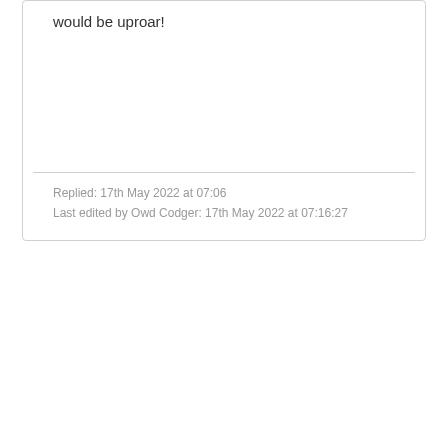would be uproar!
Replied: 17th May 2022 at 07:06
Last edited by Owd Codger: 17th May 2022 at 07:16:27